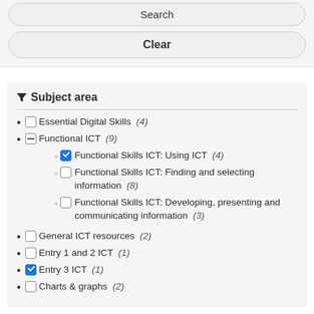Search
Clear
Subject area
Essential Digital Skills (4)
Functional ICT (9)
Functional Skills ICT: Using ICT (4)
Functional Skills ICT: Finding and selecting information (8)
Functional Skills ICT: Developing, presenting and communicating information (3)
General ICT resources (2)
Entry 1 and 2 ICT (1)
Entry 3 ICT (1)
Charts & graphs (2)
Level
Entry Level 3 (2)